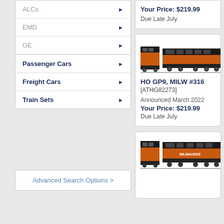ALCo
EMD
GE
Passenger Cars
Freight Cars
Train Sets
Advanced Search Options >
Your Price: $219.99
Due Late July
[Figure (photo): HO GP9 Milwaukee Road locomotive model, orange and black, two views]
HO GP9, MILW #316
[ATHG82273]
Announced March 2022
Your Price: $219.99
Due Late July
[Figure (photo): HO locomotive Milwaukee Road model, orange, two views, partially visible]